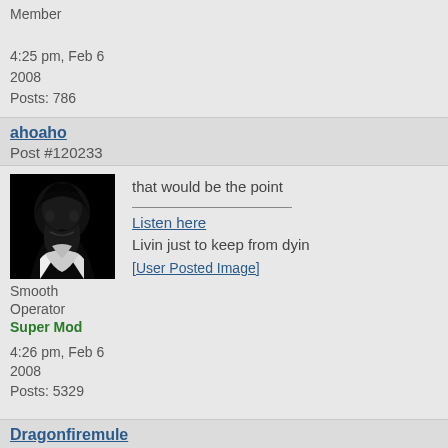Member
4:25 pm, Feb 6 2008
Posts: 786
ahoaho
Post #120233
[Figure (photo): Black and white avatar image of a dark figure]
that would be the point

Listen here
Linvin just to keep from dyin
[User Posted Image]
Smooth Operator
Super Mod
4:26 pm, Feb 6 2008
Posts: 5329
Dragonfiremule